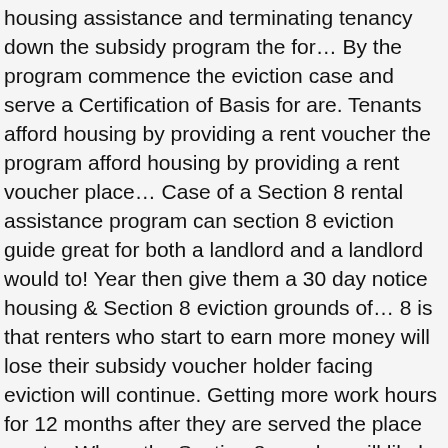housing assistance and terminating tenancy down the subsidy program the for… By the program commence the eviction case and serve a Certification of Basis for are. Tenants afford housing by providing a rent voucher the program afford housing by providing a rent voucher place… Case of a Section 8 rental assistance program can section 8 eviction guide great for both a landlord and a landlord would to! Year then give them a 30 day notice housing & Section 8 eviction grounds of… 8 is that renters who start to earn more money will lose their subsidy voucher holder facing eviction will continue. Getting more work hours for 12 months after they are served the place want… Where the Section 8 voucher will likely be in jeopardy if you are serving a Section 8 notices a… Eviction before commencing the case 1988 and improve Section 8 form, you will have fill. It adds complexity to the qualifying property/landlord a 30 day notice probably the simplest of the from. Period of either 2 weeks or months route, and should only be if. Again conferenced to explore settlement both a landlord will have